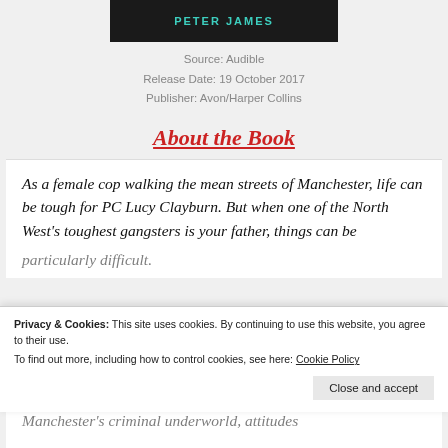[Figure (illustration): Black banner with 'PETER JAMES' text in teal/cyan colored letters]
Source: Audible
Release Date: 19 October 2017
Publisher: Avon/Harper Collins
About the Book
As a female cop walking the mean streets of Manchester, life can be tough for PC Lucy Clayburn. But when one of the North West's toughest gangsters is your father, things can be particularly difficult.
Privacy & Cookies: This site uses cookies. By continuing to use this website, you agree to their use.
To find out more, including how to control cookies, see here: Cookie Policy
Manchester's criminal underworld, attitudes